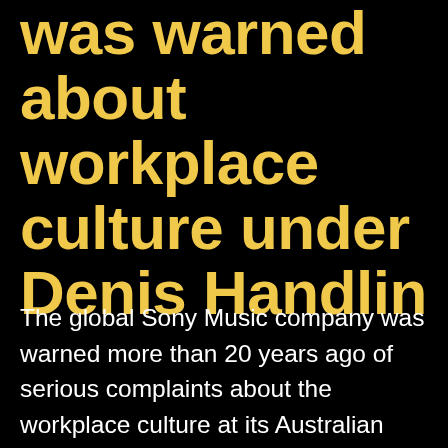was warned about workplace culture under Denis Handlin
The global Sony Music company was warned more than 20 years ago of serious complaints about the workplace culture at its Australian label overseen by its